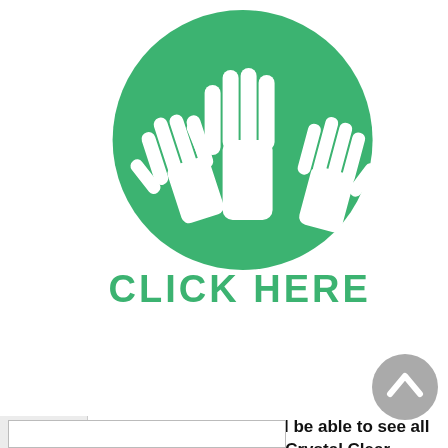[Figure (illustration): Green circle with three white raised hands silhouettes (volunteer/participation icon), with 'CLICK HERE' text in green below it.]
Register today and you'll be able to see all our opportunities for 'A Crystal Clear Ebble' and all our other Chase & Chalke projects and activities!
[Figure (other): Gray circular scroll-to-top button with white upward chevron arrow.]